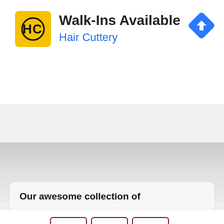[Figure (screenshot): Advertisement banner for Hair Cuttery showing 'Walk-Ins Available' with the Hair Cuttery logo (HC in yellow square), brand name in blue, and a blue navigation arrow icon in the top right corner.]
[Figure (screenshot): Partial browser tab bar showing a chevron/up arrow and three tab items outlined in purple/maroon color.]
Our awesome collection of